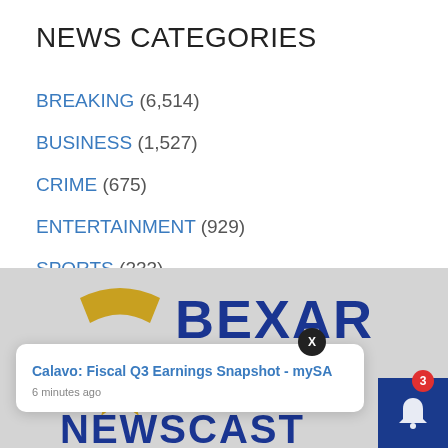NEWS CATEGORIES
BREAKING (6,514)
BUSINESS (1,527)
CRIME (675)
ENTERTAINMENT (929)
SPORTS (233)
[Figure (logo): Bexar Brief Newscast logo with gold star and blue lettering on grey background]
Calavo: Fiscal Q3 Earnings Snapshot - mySA
6 minutes ago